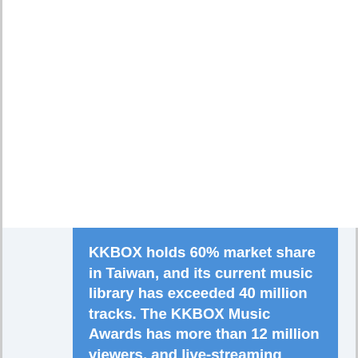KKBOX holds 60% market share in Taiwan, and its current music library has exceeded 40 million tracks. The KKBOX Music Awards has more than 12 million viewers, and live-streaming nearly 30 media.